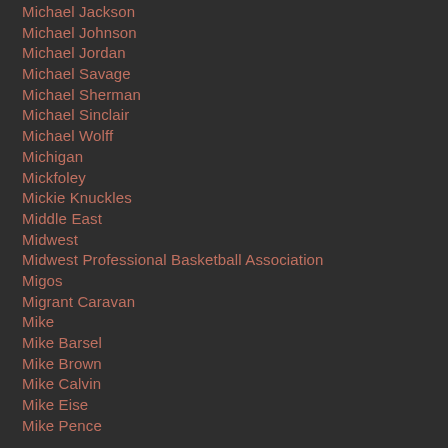Michael Jackson
Michael Johnson
Michael Jordan
Michael Savage
Michael Sherman
Michael Sinclair
Michael Wolff
Michigan
Mickfoley
Mickie Knuckles
Middle East
Midwest
Midwest Professional Basketball Association
Migos
Migrant Caravan
Mike
Mike Barsel
Mike Brown
Mike Calvin
Mike Eise
Mike Pence